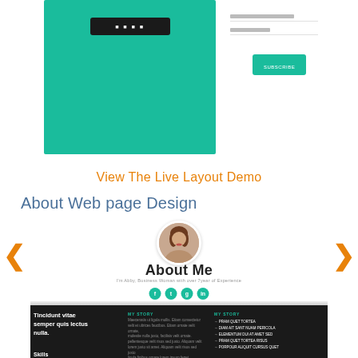[Figure (screenshot): Website screenshot showing a teal/green hero section on the left with a dark navigation bar, and a form section on the right with a teal button]
View The Live Layout Demo
About Web page Design
[Figure (screenshot): About Me page design screenshot showing a profile photo, 'About Me' heading, social icons, dark section with columns, and skills bars]